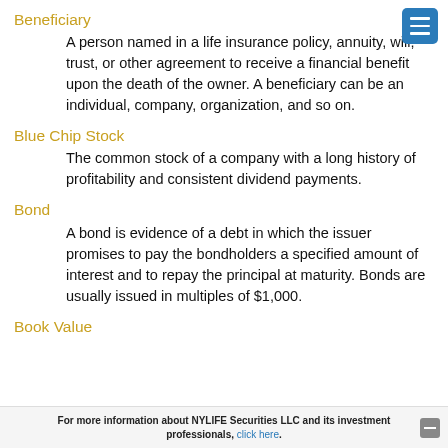Beneficiary
A person named in a life insurance policy, annuity, will, trust, or other agreement to receive a financial benefit upon the death of the owner. A beneficiary can be an individual, company, organization, and so on.
Blue Chip Stock
The common stock of a company with a long history of profitability and consistent dividend payments.
Bond
A bond is evidence of a debt in which the issuer promises to pay the bondholders a specified amount of interest and to repay the principal at maturity. Bonds are usually issued in multiples of $1,000.
Book Value
For more information about NYLIFE Securities LLC and its investment professionals, click here.